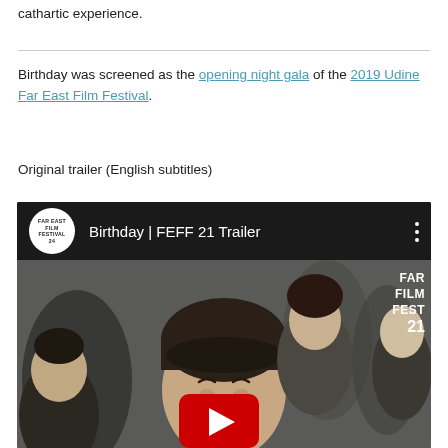cathartic experience.
Birthday was screened as the opening night gala of the 2019 Udine Far East Film Festival.
Original trailer (English subtitles)
[Figure (screenshot): YouTube video embed showing 'Birthday | FEFF 21 Trailer' with Far East Film Festival 24 logo, black header bar with white text, and a film still of a smiling child with adults in background. Far East Film Festival 21 watermark in top right of video image. Red YouTube play button overlay at bottom center.]